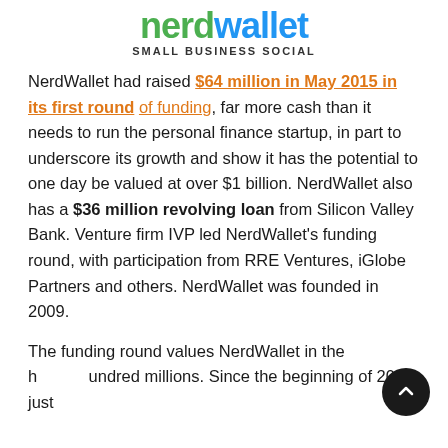NerdWallet SMALL BUSINESS SOCIAL
NerdWallet had raised $64 million in May 2015 in its first round of funding, far more cash than it needs to run the personal finance startup, in part to underscore its growth and show it has the potential to one day be valued at over $1 billion. NerdWallet also has a $36 million revolving loan from Silicon Valley Bank. Venture firm IVP led NerdWallet's funding round, with participation from RRE Ventures, iGlobe Partners and others. NerdWallet was founded in 2009.
The funding round values NerdWallet in the hundreds. Since the beginning of 2014, just